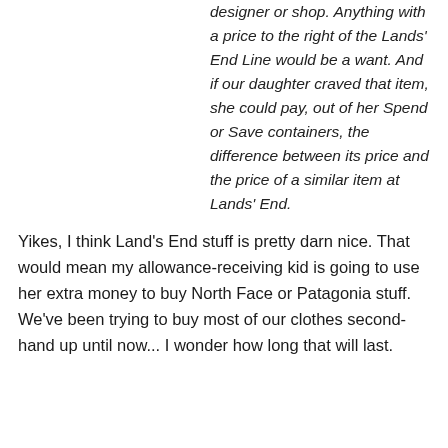designer or shop. Anything with a price to the right of the Lands' End Line would be a want. And if our daughter craved that item, she could pay, out of her Spend or Save containers, the difference between its price and the price of a similar item at Lands' End.
Yikes, I think Land's End stuff is pretty darn nice. That would mean my allowance-receiving kid is going to use her extra money to buy North Face or Patagonia stuff. We've been trying to buy most of our clothes second-hand up until now... I wonder how long that will last.